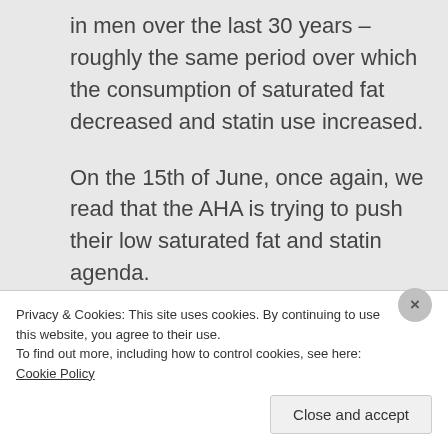in men over the last 30 years – roughly the same period over which the consumption of saturated fat decreased and statin use increased.
On the 15th of June, once again, we read that the AHA is trying to push their low saturated fat and statin agenda.
Also on the 14th of June we read on medscape (published in Lancet 13 June) about the marked increase in risk of haemorrhagic stroke in older patients
Privacy & Cookies: This site uses cookies. By continuing to use this website, you agree to their use.
To find out more, including how to control cookies, see here: Cookie Policy